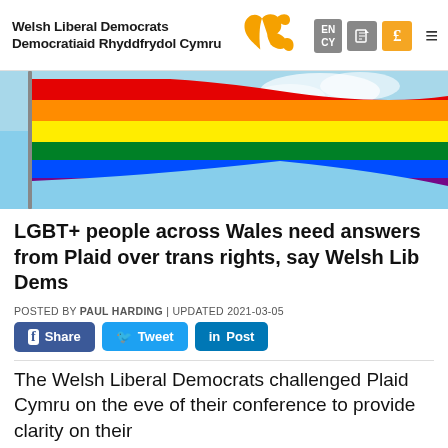Welsh Liberal Democrats / Democratiaid Rhyddfrydol Cymru
[Figure (photo): Rainbow LGBT pride flag waving against a blue sky]
LGBT+ people across Wales need answers from Plaid over trans rights, say Welsh Lib Dems
POSTED BY PAUL HARDING | UPDATED 2021-03-05
Share  Tweet  Post
The Welsh Liberal Democrats challenged Plaid Cymru on the eve of their conference to provide clarity on their